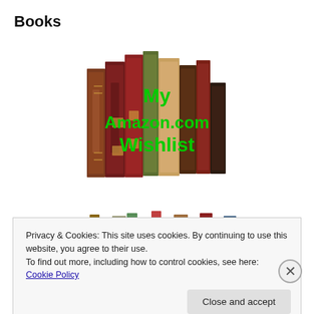Books
[Figure (photo): A row of antique leather-bound books standing upright, with green text overlay reading 'My Amazon.com Wishlist']
[Figure (photo): A row of books seen from the side, partially visible, with various colored spines]
Privacy & Cookies: This site uses cookies. By continuing to use this website, you agree to their use.
To find out more, including how to control cookies, see here: Cookie Policy
Close and accept